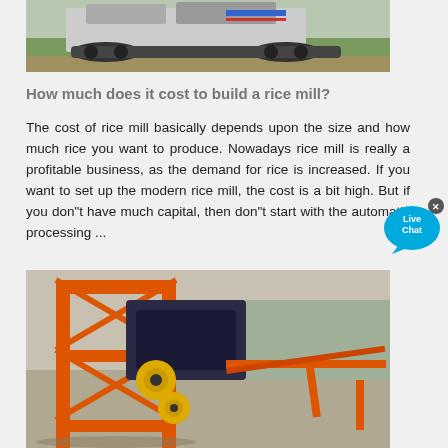[Figure (photo): Industrial mobile crushing machine on tracks, outdoors on dirt ground with vegetation in background]
How much does it cost to build a rice mill?
The cost of rice mill basically depends upon the size and how much rice you want to produce. Nowadays rice mill is really a profitable business, as the demand for rice is increased. If you want to set up the modern rice mill, the cost is a bit high. But if you don"t have much capital, then don"t start with the automatic processing ...
[Figure (photo): Orange industrial rice mill machine with conveyor belt and large mechanical components, set outdoors]